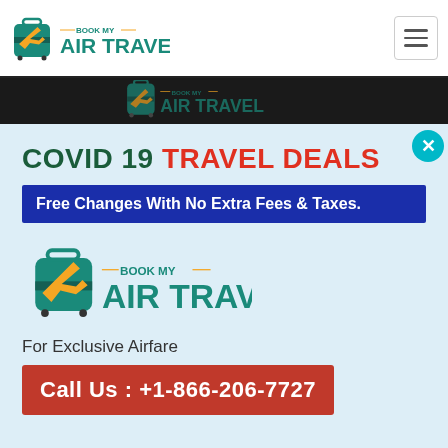[Figure (logo): Book My Air Travel logo in navigation bar — teal suitcase with orange airplane, teal text]
[Figure (logo): Book My Air Travel logo in dark banner strip — smaller version]
COVID 19 TRAVEL DEALS
Free Changes With No Extra Fees & Taxes.
[Figure (logo): Book My Air Travel logo in modal popup — large teal suitcase with orange airplane]
For Exclusive Airfare
Call Us : +1-866-206-7727